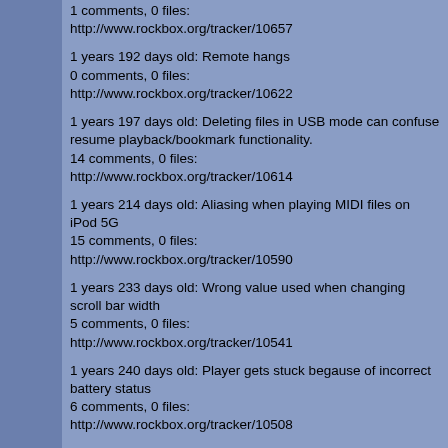1 comments, 0 files: http://www.rockbox.org/tracker/10657
1 years 192 days old: Remote hangs
0 comments, 0 files: http://www.rockbox.org/tracker/10622
1 years 197 days old: Deleting files in USB mode can confuse resume playback/bookmark functionality.
14 comments, 0 files: http://www.rockbox.org/tracker/10614
1 years 214 days old: Aliasing when playing MIDI files on iPod 5G
15 comments, 0 files: http://www.rockbox.org/tracker/10590
1 years 233 days old: Wrong value used when changing scroll bar width
5 comments, 0 files: http://www.rockbox.org/tracker/10541
1 years 240 days old: Player gets stuck begause of incorrect battery status
6 comments, 0 files: http://www.rockbox.org/tracker/10508
1 years 251 days old: Doom Gets a Data Abort Error
8 comments, 0 files: http://www.rockbox.org/tracker/10481